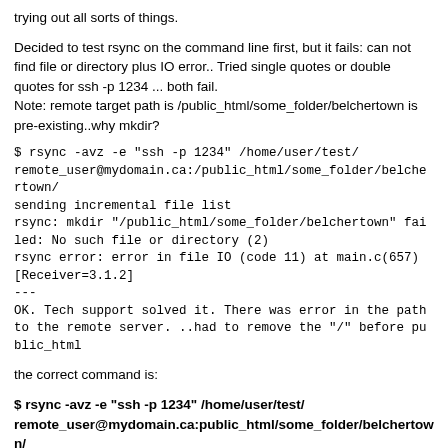trying out all sorts of things.
Decided to test rsync on the command line first, but it fails: can not find file or directory plus IO error.. Tried single quotes or double quotes for ssh -p 1234 ... both fail.
Note: remote target path is /public_html/some_folder/belchertown is pre-existing..why mkdir?
$ rsync -avz -e "ssh -p 1234" /home/user/test/
remote_user@mydomain.ca:/public_html/some_folder/belchertown/
sending incremental file list
rsync: mkdir "/public_html/some_folder/belchertown" failed: No such file or directory (2)
rsync error: error in file IO (code 11) at main.c(657)
[Receiver=3.1.2]
---
OK. Tech support solved it. There was error in the path to the remote server. ..had to remove the "/" before public_html
the correct command is:
$ rsync -avz -e "ssh -p 1234" /home/user/test/
remote_user@mydomain.ca:public_html/some_folder/belchertown/
...will rsync /var/www/html/weewx/belchertown. I guess I will have to change the HTML_ROOT in weewx.conf (rsync section) to match.
the adventure continues...